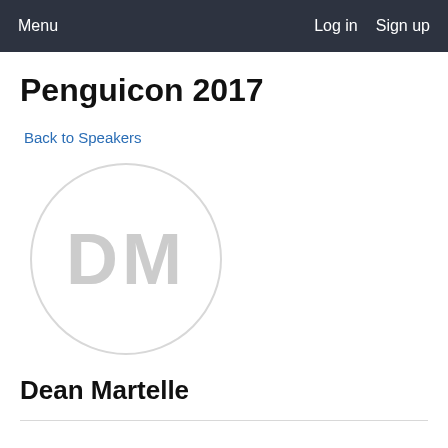Menu   Log in   Sign up
Penguicon 2017
Back to Speakers
[Figure (illustration): Circular avatar placeholder with initials DM in light gray on white background]
Dean Martelle